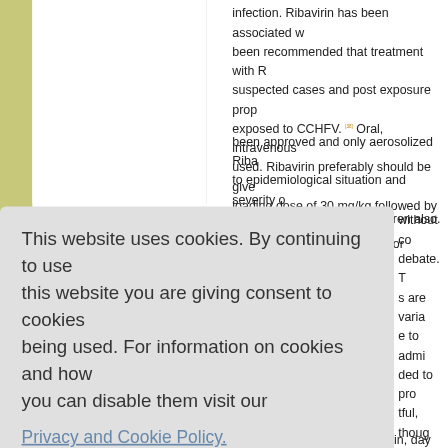infection. Ribavirin has been associated with... been recommended that treatment with R... suspected cases and post exposure prop... exposed to CCHFV. [38] Oral, intravenous... used. Ribavirin preferably should be give... loading dose of 30 mg/kg followed by 16 m... hourly for another six days. For children, t...
been approved and only aerosolized Riba... to epidemiological situation and severity o... was administered to the children also. [39]
without co... debate. T... s are varia... e to admi... ded to pro... tful, thou...
This website uses cookies. By continuing to use this website you are giving consent to cookies being used. For information on cookies and how you can disable them visit our Privacy and Cookie Policy.
AGREE & PROCEED
approxima... several factors, i.e., virus strain, day of dia...